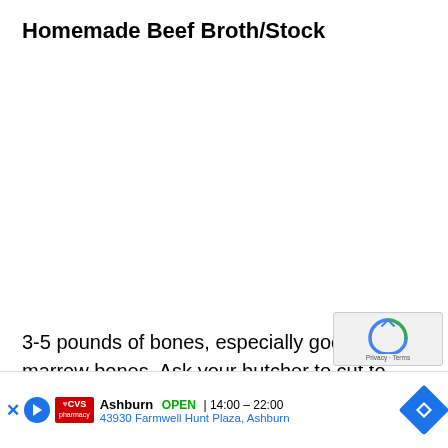Homemade Beef Broth/Stock
3-5 pounds of bones, especially good are marrow bones. Ask your butcher to cut to expose the marrow, if possible. I have been using a lot of knuckle bon lately
2 carr
[Figure (screenshot): Advertisement overlay: CVS Pharmacy in Ashburn, OPEN 14:00-22:00, 43930 Farmwell Hunt Plaza, Ashburn, with navigation diamond icon and reCAPTCHA widget]